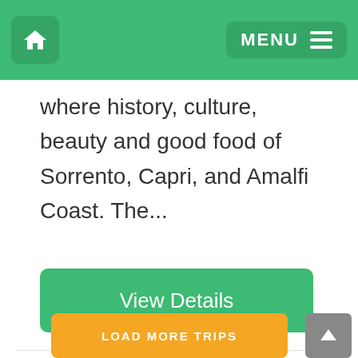MENU
where history, culture, beauty and good food of Sorrento, Capri, and Amalfi Coast. The...
View Details
LOAD MORE TRIPS